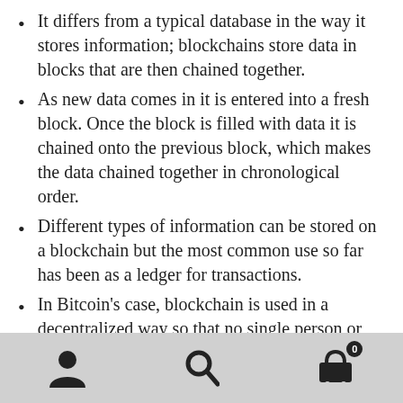It differs from a typical database in the way it stores information; blockchains store data in blocks that are then chained together.
As new data comes in it is entered into a fresh block. Once the block is filled with data it is chained onto the previous block, which makes the data chained together in chronological order.
Different types of information can be stored on a blockchain but the most common use so far has been as a ledger for transactions.
In Bitcoin’s case, blockchain is used in a decentralized way so that no single person or group has control—rather, all users collectively retain control.
Decentralized blockchains are immutable, which